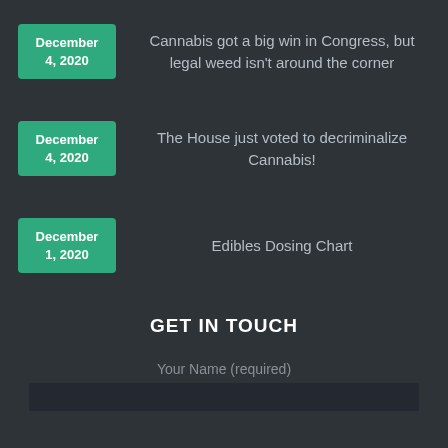December 4, 2020
Cannabis got a big win in Congress, but legal weed isn't around the corner
December 4, 2020
The House just voted to decriminalize Cannabis!
December 1, 2020
Edibles Dosing Chart
GET IN TOUCH
Your Name (required)